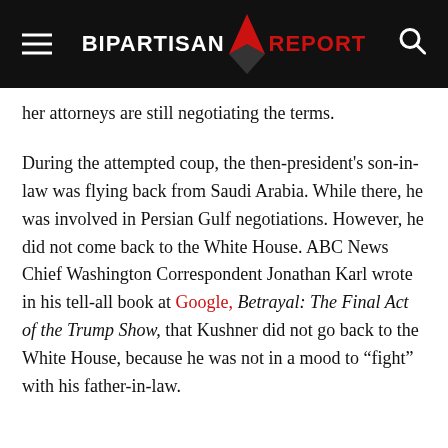BIPARTISAN REPORT
her attorneys are still negotiating the terms.
During the attempted coup, the then-president's son-in-law was flying back from Saudi Arabia. While there, he was involved in Persian Gulf negotiations. However, he did not come back to the White House. ABC News Chief Washington Correspondent Jonathan Karl wrote in his tell-all book at Google, Betrayal: The Final Act of the Trump Show, that Kushner did not go back to the White House, because he was not in a mood to “fight” with his father-in-law.